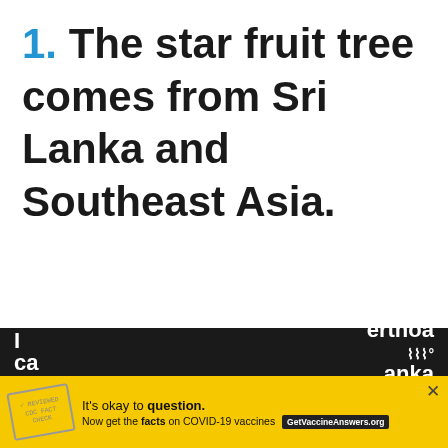1. The star fruit tree comes from Sri Lanka and Southeast Asia.
[Figure (other): Blue circular favorite/heart button (FAB) on right side]
[Figure (other): White circular share button (FAB) with share icon on right side]
[Figure (other): Yellow advertisement banner at bottom: 'It's okay to question. Now get the facts on COVID-19 vaccines. GetVaccineAnswers.org' with a CDC stamp graphic and close button]